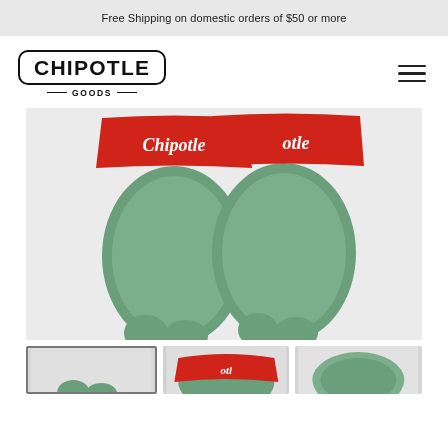Free Shipping on domestic orders of $50 or more
[Figure (logo): Chipotle Goods logo — CHIPOTLE in bold black text inside a rounded rectangle border, with GOODS in small caps below flanked by short horizontal lines]
[Figure (photo): Top-down view of a pair of red and green Chipotle slide sandals. The straps are red with white Chipotle script lettering. The footbed/sole is green. Photo is shot on a white/light gray background.]
[Figure (photo): Thumbnail 1: close-up of the green footbed toes of the Chipotle slides, selected state]
[Figure (photo): Thumbnail 2: angled view showing both red strap and green footbed]
[Figure (photo): Thumbnail 3: side view of a single slide sandal]